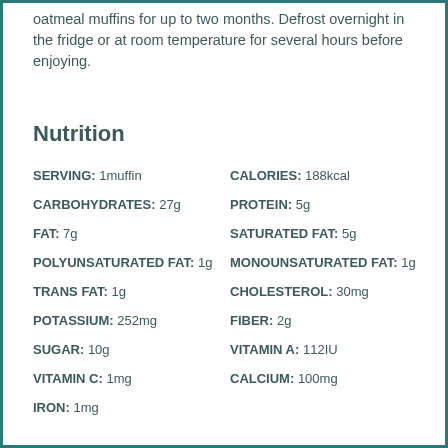oatmeal muffins for up to two months. Defrost overnight in the fridge or at room temperature for several hours before enjoying.
Nutrition
| SERVING: 1muffin | CALORIES: 188kcal |
| CARBOHYDRATES: 27g | PROTEIN: 5g |
| FAT: 7g | SATURATED FAT: 5g |
| POLYUNSATURATED FAT: 1g | MONOUNSATURATED FAT: 1g |
| TRANS FAT: 1g | CHOLESTEROL: 30mg |
| POTASSIUM: 252mg | FIBER: 2g |
| SUGAR: 10g | VITAMIN A: 112IU |
| VITAMIN C: 1mg | CALCIUM: 100mg |
| IRON: 1mg |  |